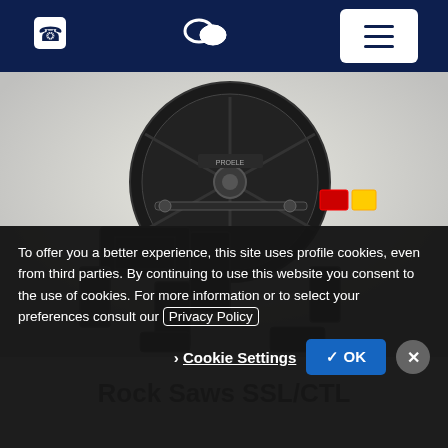Navigation bar with phone icon, chat icon, and hamburger menu button
[Figure (photo): Rock Saw SSL/CTL attachment machine — large black circular saw blade housing with mounting frame and hydraulic components, photographed against a light background]
Rock Saws SSL/CTL
To offer you a better experience, this site uses profile cookies, even from third parties. By continuing to use this website you consent to the use of cookies. For more information or to select your preferences consult our Privacy Policy
Cookie Settings  ✓ OK